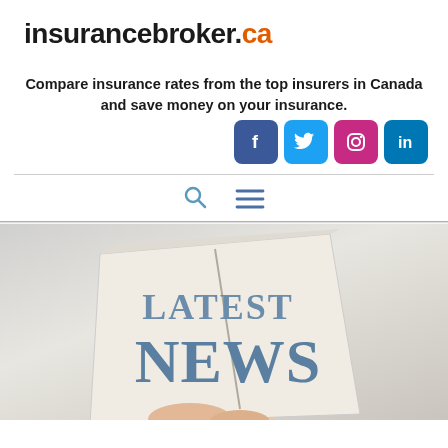insurancebroker.ca
Compare insurance rates from the top insurers in Canada and save money on your insurance.
[Figure (screenshot): Social media icons row: Facebook (blue), Twitter (light blue), Instagram (pink/magenta), LinkedIn (blue)]
[Figure (screenshot): Navigation icons: search magnifying glass icon and hamburger menu icon]
[Figure (photo): A hand holding a folded newspaper with the text LATEST NEWS printed on it in large blue serif letters]